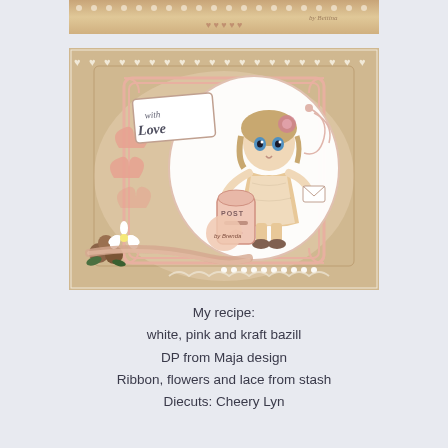[Figure (photo): Top partial photo of a handmade greeting card with kraft and cream colors, partially visible]
[Figure (photo): Main photo of a handmade decorative card featuring a cartoon girl near a post box, with 'with Love' sentiment tag, pink and kraft colors, decorative die cuts, lace border, fabric flowers, satin ribbon, and pearl embellishments]
My recipe:
white, pink and kraft bazill
DP from Maja design
Ribbon, flowers and lace from stash
Diecuts: Cheery Lyn